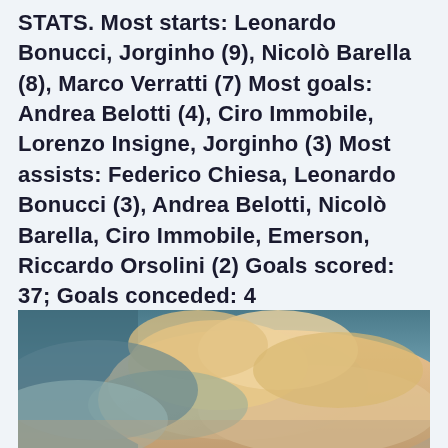STATS. Most starts: Leonardo Bonucci, Jorginho (9), Nicolò Barella (8), Marco Verratti (7) Most goals: Andrea Belotti (4), Ciro Immobile, Lorenzo Insigne, Jorginho (3) Most assists: Federico Chiesa, Leonardo Bonucci (3), Andrea Belotti, Nicolò Barella, Ciro Immobile, Emerson, Riccardo Orsolini (2) Goals scored: 37; Goals conceded: 4
[Figure (photo): Photograph of a dramatic sky with large cumulus clouds in warm golden-orange and teal tones, viewed from below]